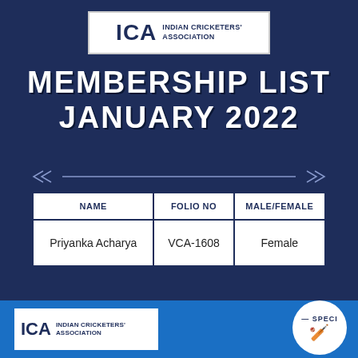[Figure (logo): ICA Indian Cricketers Association logo in white box at top]
MEMBERSHIP LIST JANUARY 2022
| NAME | FOLIO NO | MALE/FEMALE |
| --- | --- | --- |
| Priyanka Acharya | VCA-1608 | Female |
[Figure (logo): ICA Indian Cricketers Association logo in white box at bottom left]
[Figure (logo): Circular badge with SPECI text at bottom right]